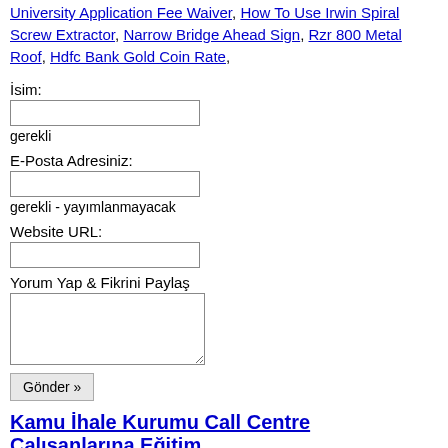University Application Fee Waiver, How To Use Irwin Spiral Screw Extractor, Narrow Bridge Ahead Sign, Rzr 800 Metal Roof, Hdfc Bank Gold Coin Rate,
İsim:
gerekli
E-Posta Adresiniz:
gerekli - yayımlanmayacak
Website URL:
Yorum Yap & Fikrini Paylaş
Gönder »
Kamu İhale Kurumu Call Centre Çalışanlarına Eğitim